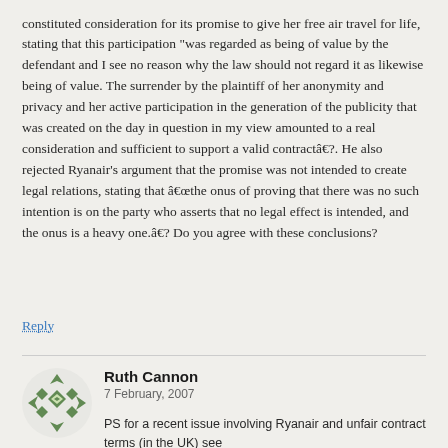constituted consideration for its promise to give her free air travel for life, stating that this participation "was regarded as being of value by the defendant and I see no reason why the law should not regard it as likewise being of value. The surrender by the plaintiff of her anonymity and privacy and her active participation in the generation of the publicity that was created on the day in question in my view amounted to a real consideration and sufficient to support a valid contractâ€?. He also rejected Ryanair's argument that the promise was not intended to create legal relations, stating that â€œthe onus of proving that there was no such intention is on the party who asserts that no legal effect is intended, and the onus is a heavy one.â€? Do you agree with these conclusions?
Reply
Ruth Cannon
7 February, 2007
PS for a recent issue involving Ryanair and unfair contract terms (in the UK) see